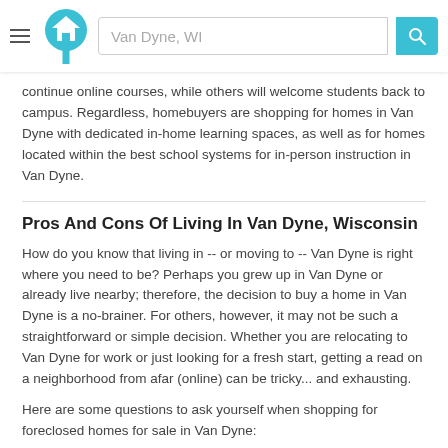[Figure (screenshot): Website header with hamburger menu icon, house/location pin logo in teal, search bar showing 'Van Dyne, WI', and teal search button with magnifying glass icon]
continue online courses, while others will welcome students back to campus. Regardless, homebuyers are shopping for homes in Van Dyne with dedicated in-home learning spaces, as well as for homes located within the best school systems for in-person instruction in Van Dyne.
Pros And Cons Of Living In Van Dyne, Wisconsin
How do you know that living in -- or moving to -- Van Dyne is right where you need to be? Perhaps you grew up in Van Dyne or already live nearby; therefore, the decision to buy a home in Van Dyne is a no-brainer. For others, however, it may not be such a straightforward or simple decision. Whether you are relocating to Van Dyne for work or just looking for a fresh start, getting a read on a neighborhood from afar (online) can be tricky... and exhausting.
Here are some questions to ask yourself when shopping for foreclosed homes for sale in Van Dyne: